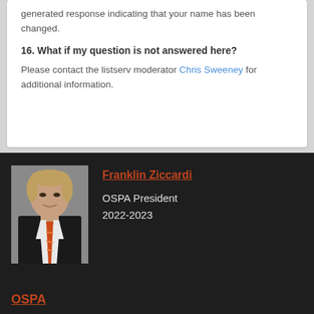generated response indicating that your name has been changed.
16. What if my question is not answered here?
Please contact the listserv moderator Chris Sweeney for additional information.
[Figure (photo): Headshot photo of Franklin Ziccardi in a dark suit with an orange striped tie against a gray background]
Franklin Ziccardi
OSPA President
2022-2023
OSPA